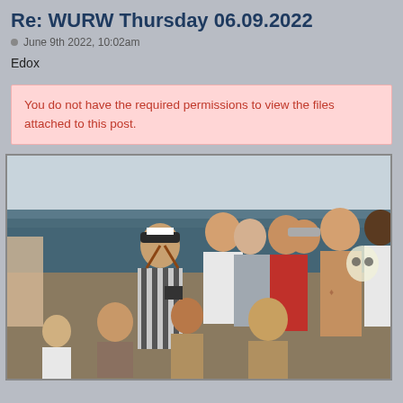Re: WURW Thursday 06.09.2022
June 9th 2022, 10:02am
Edox
You do not have the required permissions to view the files attached to this post.
[Figure (photo): Group of people standing and sitting on the deck of a ship or boat, with the ocean visible in the background. Multiple men of various ages, some in casual clothes, one wearing a captain-style hat. A shirtless man is visible on the right.]